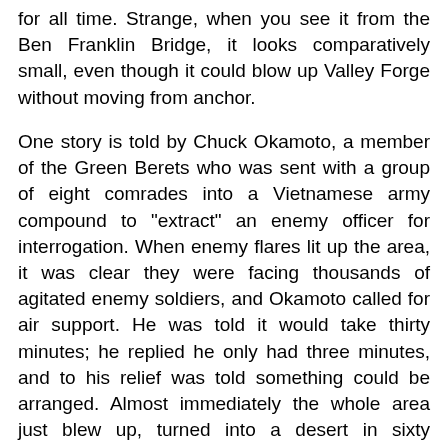for all time. Strange, when you see it from the Ben Franklin Bridge, it looks comparatively small, even though it could blow up Valley Forge without moving from anchor.
One story is told by Chuck Okamoto, a member of the Green Berets who was sent with a group of eight comrades into a Vietnamese army compound to "extract" an enemy officer for interrogation. When enemy flares lit up the area, it was clear they were facing thousands of agitated enemy soldiers, and Okamoto called for air support. He was told it would take thirty minutes; he replied he only had three minutes, and to his relief was told something could be arranged. Almost immediately the whole area just blew up, turned into a desert in sixty seconds. The guns of the New Jersey, twenty miles away, had picked off the target. The story got more than average attention because Okamoto's father was Lyndon Johnson's personal photographer, and